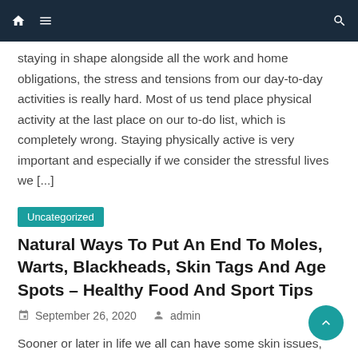Navigation bar with home, menu, and search icons
staying in shape alongside all the work and home obligations, the stress and tensions from our day-to-day activities is really hard. Most of us tend place physical activity at the last place on our to-do list, which is completely wrong. Staying physically active is very important and especially if we consider the stressful lives we [...]
Uncategorized
Natural Ways To Put An End To Moles, Warts, Blackheads, Skin Tags And Age Spots – Healthy Food And Sport Tips
September 26, 2020   admin
Sooner or later in life we all can have some skin issues, like moles, skin tags, clogged pores or skin breakouts. They can be caused by hormonal imbalance or bad lifestyle. There are